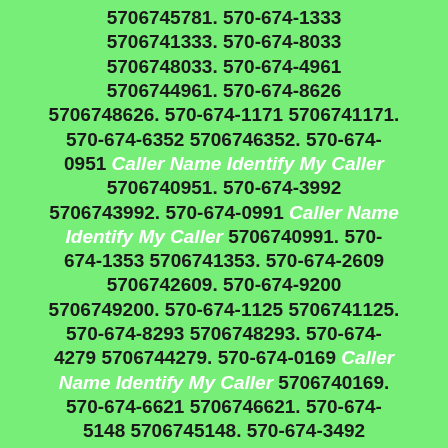5706745781. 570-674-1333 5706741333. 570-674-8033 5706748033. 570-674-4961 5706744961. 570-674-8626 5706748626. 570-674-1171 5706741171. 570-674-6352 5706746352. 570-674-0951 Caller Name Identify My Caller 5706740951. 570-674-3992 5706743992. 570-674-0991 Caller Name Identify My Caller 5706740991. 570-674-1353 5706741353. 570-674-2609 5706742609. 570-674-9200 5706749200. 570-674-1125 5706741125. 570-674-8293 5706748293. 570-674-4279 5706744279. 570-674-0169 Caller Name Identify My Caller 5706740169. 570-674-6621 5706746621. 570-674-5148 5706745148. 570-674-3492 5706743492. 570-674-9262 5706749262. 570-674-7445 5706747445. 570-674-8299 5706748299. 570-674-3784 5706743784. 570-674-9554 5706749554. 570-674-5131 5706745131. 570-674-1056